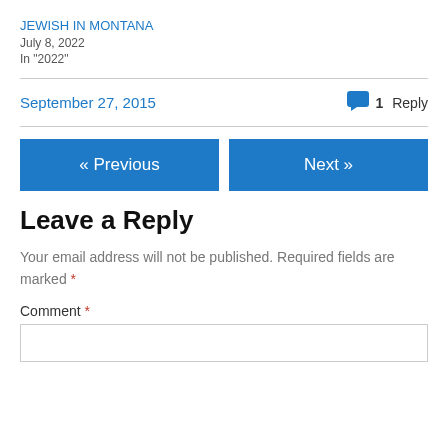JEWISH IN MONTANA
July 8, 2022
In "2022"
September 27, 2015   1 Reply
« Previous
Next »
Leave a Reply
Your email address will not be published. Required fields are marked *
Comment *